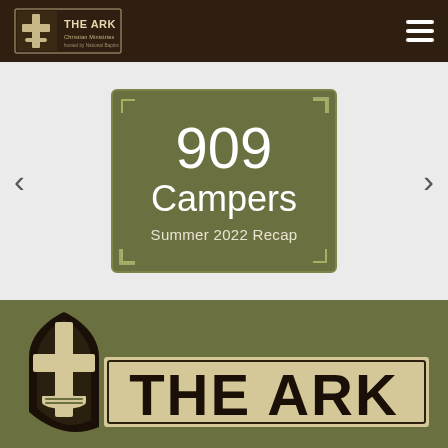THE ARK | Christian Ministries — navigation header with hamburger menu
909 Campers Summer 2022 Recap
[Figure (logo): The Ark Christian Ministries logo with cross icon and text THE ARK at bottom of page]